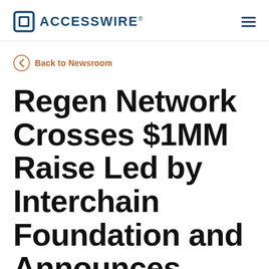ACCESSWIRE®
Back to Newsroom
Regen Network Crosses $1MM Raise Led by Interchain Foundation and Announces Chorus